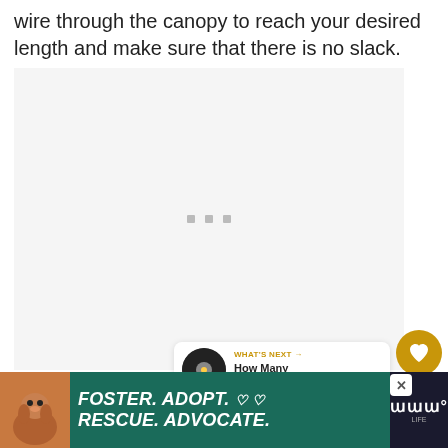wire through the canopy to reach your desired length and make sure that there is no slack.
[Figure (photo): Loading placeholder area with three small grey squares centered, representing an image that has not yet loaded.]
[Figure (screenshot): UI overlay showing a gold heart/like button, a count of '1', and a share button on the right side of the image area.]
[Figure (screenshot): What's Next card with a circular thumbnail of a recessed light fixture and text: 'WHAT'S NEXT → How Many Recessed...']
[Figure (screenshot): Advertisement banner at bottom: dark green background with a dog, text 'FOSTER. ADOPT. ♡ ♡ RESCUE. ADVOCATE.' with a close button and branding on the right.]